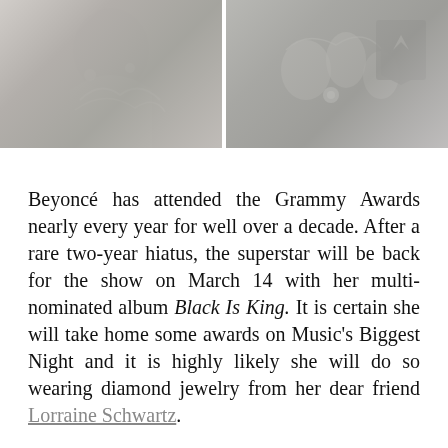[Figure (photo): Two side-by-side photos: left shows a person in a sparkling silver/white outfit, right shows close-up of hands with jewelry and nail art against a dark background.]
Beyoncé has attended the Grammy Awards nearly every year for well over a decade. After a rare two-year hiatus, the superstar will be back for the show on March 14 with her multi-nominated album Black Is King. It is certain she will take home some awards on Music's Biggest Night and it is highly likely she will do so wearing diamond jewelry from her dear friend Lorraine Schwartz.
After all, the enduring collaboration between the star and jewelry designer is remarkable and unprecedented; Queen Bey has sparkled in diamond jewelry by Lorraine Schwartz at every Grammys since 2004.. And while Beyoncé has worn Schwartz's jewels on many other occasions, her appearances at the Grammy Awards have